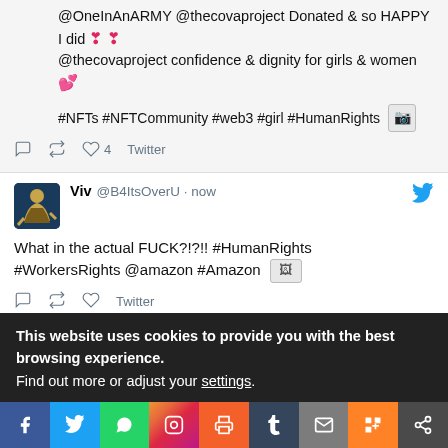@OneInAnARMY @thecovaproject Donated & so HAPPY I did ❣ ❣ @thecovaproject confidence & dignity for girls & women 💕
#NFTs #NFTCommunity #web3 #girl #HumanRights
4  Twitter
Viv @B4ItsOverU · now
What in the actual FUCK?!?!! #HumanRights #WorkersRights @amazon #Amazon
Twitter
This website uses cookies to provide you with the best browsing experience.
Find out more or adjust your settings.